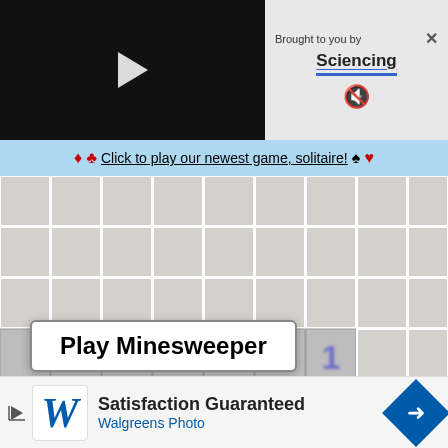[Figure (screenshot): Video player with black background and white play button triangle]
Brought to you by Sciencing
♦ ♣ Click to play our newest game, solitaire! ♠ ♥
[Figure (screenshot): Minesweeper game grid showing numbered cells (1s, 2s) in blue, green, red colors on gray tiles, blurred, with a flag icon]
Play Minesweeper
[Figure (screenshot): Walgreens Photo advertisement banner: Satisfaction Guaranteed, Walgreens Photo]